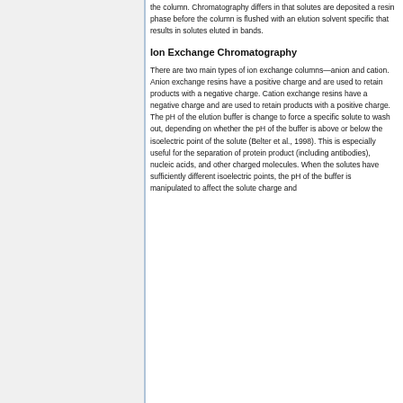the column. Chromatography differs in that solutes are deposited a resin phase before the column is flushed with an elution solvent specific that results in solutes eluted in bands.
Ion Exchange Chromatography
There are two main types of ion exchange columns—anion and cation. Anion exchange resins have a positive charge and are used to retain products with a negative charge. Cation exchange resins have a negative charge and are used to retain products with a positive charge. The pH of the elution buffer is change to force a specific solute to wash out, depending on whether the pH of the buffer is above or below the isoelectric point of the solute (Belter et al., 1998). This is especially useful for the separation of protein product (including antibodies), nucleic acids, and other charged molecules. When the solutes have sufficiently different isoelectric points, the pH of the buffer is manipulated to affect the solute charge and